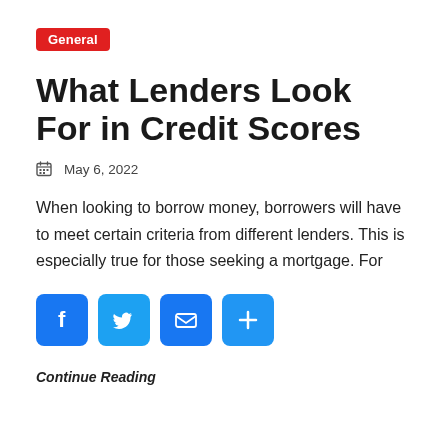General
What Lenders Look For in Credit Scores
May 6, 2022
When looking to borrow money, borrowers will have to meet certain criteria from different lenders. This is especially true for those seeking a mortgage. For
[Figure (infographic): Social share buttons: Facebook, Twitter, Email, and Plus/Share icons in blue rounded squares]
Continue Reading